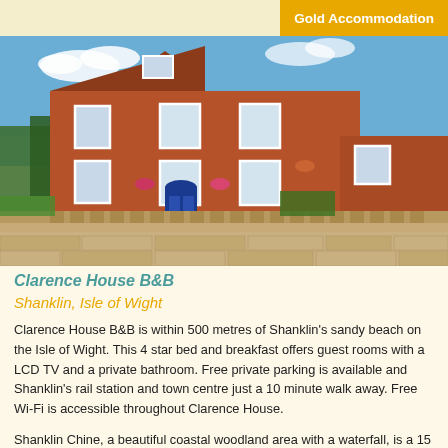Gold Accommodation
[Figure (photo): Exterior photo of Clarence House B&B, a red brick Victorian building with blue front door, white-framed sash windows, flower baskets, and a decorative stone wall in the foreground, under a blue sky.]
Clarence House B&B
Shanklin, Isle of Wight
Clarence House B&B is within 500 metres of Shanklin's sandy beach on the Isle of Wight. This 4 star bed and breakfast offers guest rooms with a LCD TV and a private bathroom. Free private parking is available and Shanklin's rail station and town centre just a 10 minute walk away. Free Wi-Fi is accessible throughout Clarence House.
Shanklin Chine, a beautiful coastal woodland area with a waterfall, is a 15